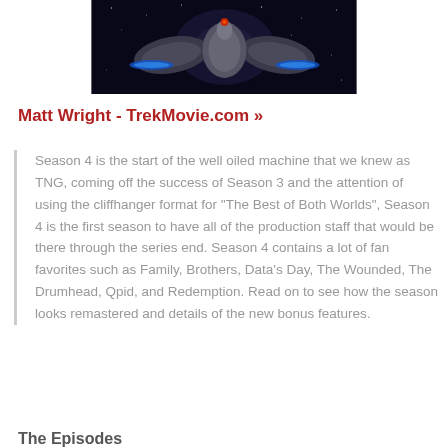[Figure (photo): Dark space scene showing a spacecraft or shuttle with blue accent lighting against a starfield background]
Matt Wright - TrekMovie.com »
Season 4 is the start of the well oiled machine that we knew as TNG, coming off the success of Season 3 and the attention of using the cliffhanger format for "The Best of Both Worlds", Season 4 is the first season to have all of the production staff that would be there through the series end. Season 4 contains a lot of fan favorites such as Family, Brothers, Data's Day, The Wounded, The Drumhead, Qpid, and Redemption. Read on to see how the season looks remastered and details of the new bonus features.
The Episodes